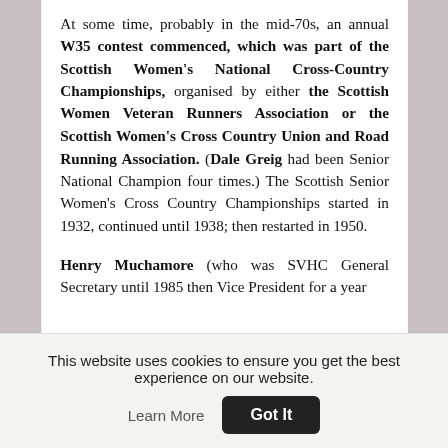At some time, probably in the mid-70s, an annual W35 contest commenced, which was part of the Scottish Women's National Cross-Country Championships, organised by either the Scottish Women Veteran Runners Association or the Scottish Women's Cross Country Union and Road Running Association. (Dale Greig had been Senior National Champion four times.) The Scottish Senior Women's Cross Country Championships started in 1932, continued until 1938; then restarted in 1950.
Henry Muchamore (who was SVHC General Secretary until 1985 then Vice President for a year
This website uses cookies to ensure you get the best experience on our website. Learn More Got It